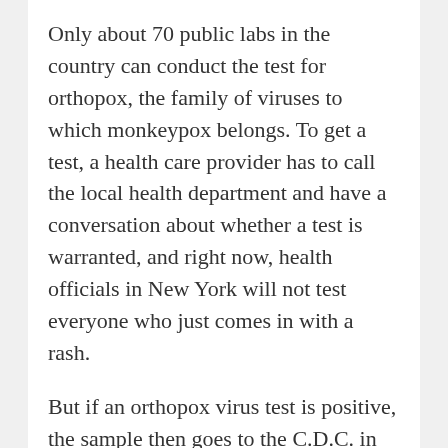Only about 70 public labs in the country can conduct the test for orthopox, the family of viruses to which monkeypox belongs. To get a test, a health care provider has to call the local health department and have a conversation about whether a test is warranted, and right now, health officials in New York will not test everyone who just comes in with a rash.
But if an orthopox virus test is positive, the sample then goes to the C.D.C. in Atlanta for final confirmation of monkeypox. The whole process can take several days. To speed the response, any orthopox test that's positive is presumed to be monkeypox even before the confirmation test.
If you text positive for monkeypox, what's the